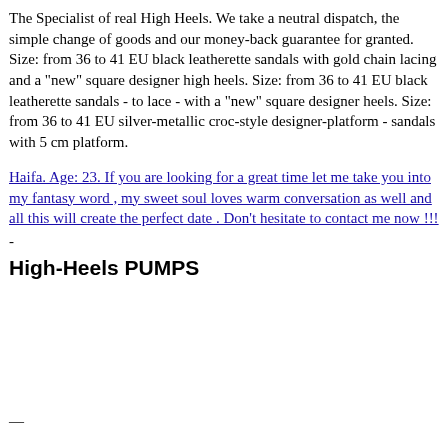The Specialist of real High Heels. We take a neutral dispatch, the simple change of goods and our money-back guarantee for granted. Size: from 36 to 41 EU black leatherette sandals with gold chain lacing and a "new" square designer high heels. Size: from 36 to 41 EU black leatherette sandals - to lace - with a "new" square designer heels. Size: from 36 to 41 EU silver-metallic croc-style designer-platform - sandals with 5 cm platform.
Haifa. Age: 23. If you are looking for a great time let me take you into my fantasy word , my sweet soul loves warm conversation as well and all this will create the perfect date . Don't hesitate to contact me now !!!
-
High-Heels PUMPS
—